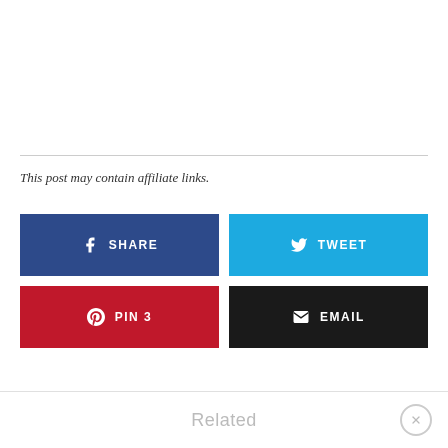This post may contain affiliate links.
[Figure (infographic): Social sharing buttons: SHARE (Facebook, dark blue), TWEET (Twitter, light blue), PIN 3 (Pinterest, red), EMAIL (dark/black)]
Related